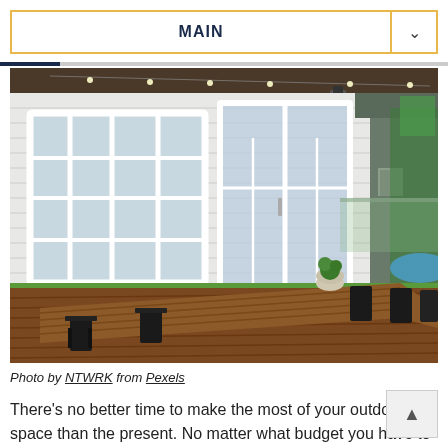MAIN
[Figure (photo): Outdoor covered deck with a long wooden dining table, black chairs, string lights overhead, white clapboard house walls with sliding glass doors, green lawn, a shed and swimming pool visible in the background.]
Photo by NTWRK from Pexels
There's no better time to make the most of your outdoor space than the present. No matter what budget you have to